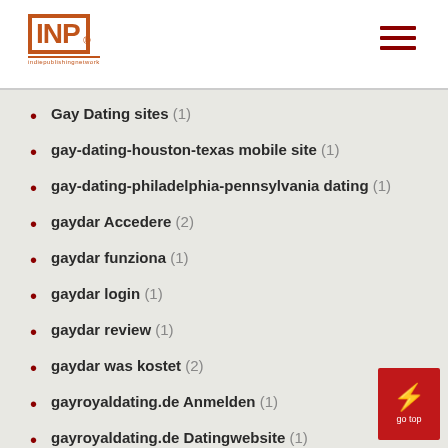INP logo and hamburger menu
Gay Dating sites (1)
gay-dating-houston-texas mobile site (1)
gay-dating-philadelphia-pennsylvania dating (1)
gaydar Accedere (2)
gaydar funziona (1)
gaydar login (1)
gaydar review (1)
gaydar was kostet (2)
gayroyaldating.de Anmelden (1)
gayroyaldating.de Datingwebsite (1)